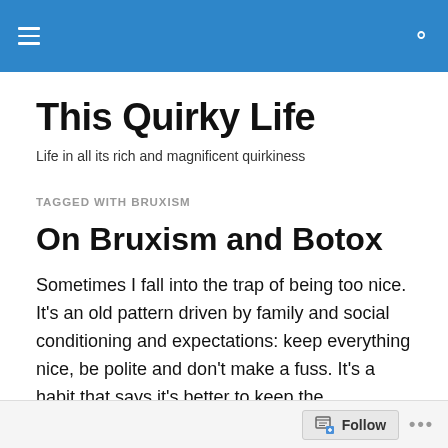This Quirky Life — navigation header bar
This Quirky Life
Life in all its rich and magnificent quirkiness
TAGGED WITH BRUXISM
On Bruxism and Botox
Sometimes I fall into the trap of being too nice. It's an old pattern driven by family and social conditioning and expectations: keep everything nice, be polite and don't make a fuss. It's a habit that says it's better to keep the
Follow